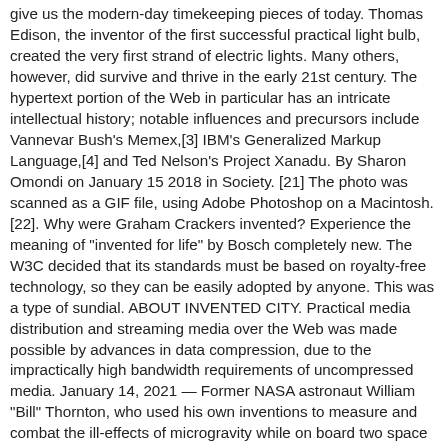give us the modern-day timekeeping pieces of today. Thomas Edison, the inventor of the first successful practical light bulb, created the very first strand of electric lights. Many others, however, did survive and thrive in the early 21st century. The hypertext portion of the Web in particular has an intricate intellectual history; notable influences and precursors include Vannevar Bush's Memex,[3] IBM's Generalized Markup Language,[4] and Ted Nelson's Project Xanadu. By Sharon Omondi on January 15 2018 in Society. [21] The photo was scanned as a GIF file, using Adobe Photoshop on a Macintosh.[22]. Why were Graham Crackers invented? Experience the meaning of "invented for life" by Bosch completely new. The W3C decided that its standards must be based on royalty-free technology, so they can be easily adopted by anyone. This was a type of sundial. ABOUT INVENTED CITY. Practical media distribution and streaming media over the Web was made possible by advances in data compression, due to the impractically high bandwidth requirements of uncompressed media. January 14, 2021 — Former NASA astronaut William "Bill" Thornton, who used his own inventions to measure and combat the ill-effects of microgravity while on board two space shuttle missions, has died at the age of 91. The initial idea of the Internet is credited to Leonard Kleinrock after he published his first paper entitled "Information Flow in Large Communication Nets" on May 31, 1961. Shaped painting invented by Frank Stella Motion picture, the invention of which is attributed to Eadweard Muybridge [35] [36] Likewise, Jackson Pollock invented an entirely